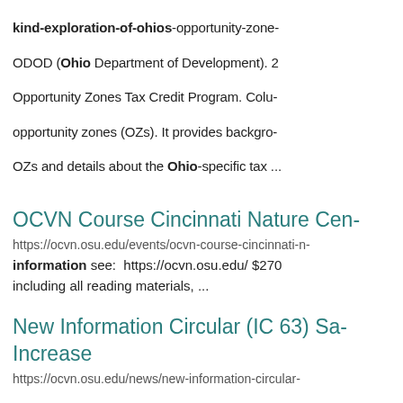kind-exploration-of-ohios-opportunity-zone ODOD (Ohio Department of Development). 2 Opportunity Zones Tax Credit Program. Colu opportunity zones (OZs). It provides backgro OZs and details about the Ohio-specific tax ...
OCVN Course Cincinnati Nature Cen
https://ocvn.osu.edu/events/ocvn-course-cincinnati-n
information see: https://ocvn.osu.edu/ $270 including all reading materials, ...
New Information Circular (IC 63) Sa Increase
https://ocvn.osu.edu/news/new-information-circular